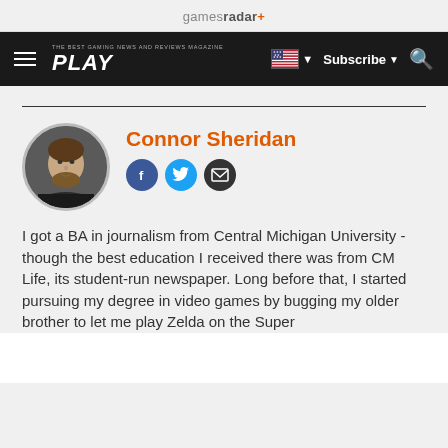gamesradar+
[Figure (screenshot): GamesRadar+ navigation bar with hamburger menu, PLAY logo, US flag dropdown, Subscribe dropdown, and search icon]
Connor Sheridan
[Figure (photo): Round profile photo of Connor Sheridan, a young man with beard]
I got a BA in journalism from Central Michigan University - though the best education I received there was from CM Life, its student-run newspaper. Long before that, I started pursuing my degree in video games by bugging my older brother to let me play Zelda on the Super